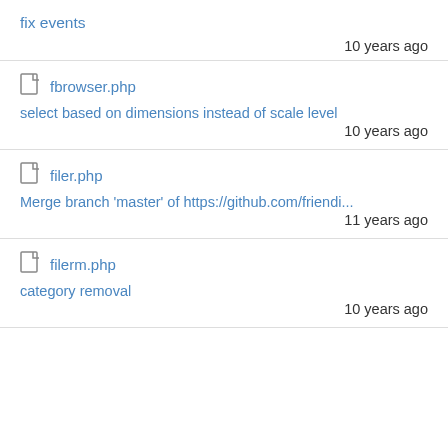fix events
10 years ago
fbrowser.php
select based on dimensions instead of scale level
10 years ago
filer.php
Merge branch 'master' of https://github.com/friendi...
11 years ago
filerm.php
category removal
10 years ago